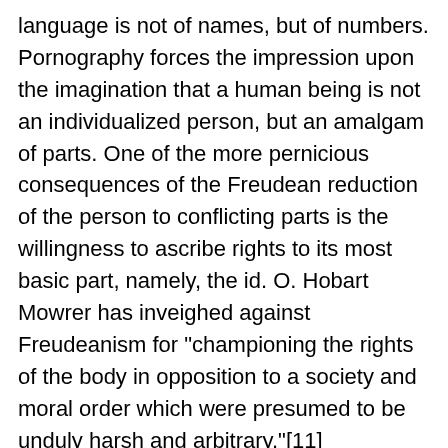language is not of names, but of numbers. Pornography forces the impression upon the imagination that a human being is not an individualized person, but an amalgam of parts. One of the more pernicious consequences of the Freudean reduction of the person to conflicting parts is the willingness to ascribe rights to its most basic part, namely, the id. O. Hobart Mowrer has inveighed against Freudeanism for "championing the rights of the body in opposition to a society and moral order which were presumed to be unduly harsh and arbitrary."[11]
Nonetheless, a human being is not a conflict of parts but a dynamic whole that has a communal nature and a personal destiny.
The porn industry, with its words, images, voices, and videos, is, indeed, a formula for despair. From its very essence springs the need to create the